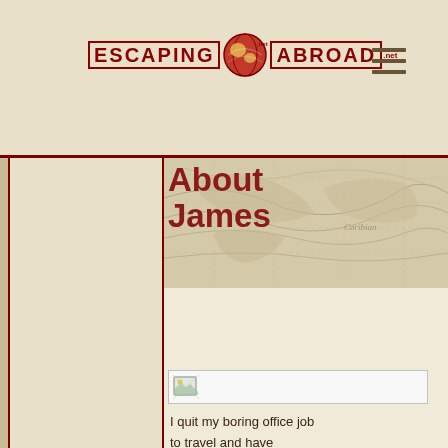Escaping Abroad
About James
[Figure (illustration): Small broken image icon placeholder with grey border rectangle]
I quit my boring office job to travel and have adventures all over the world. » Find out